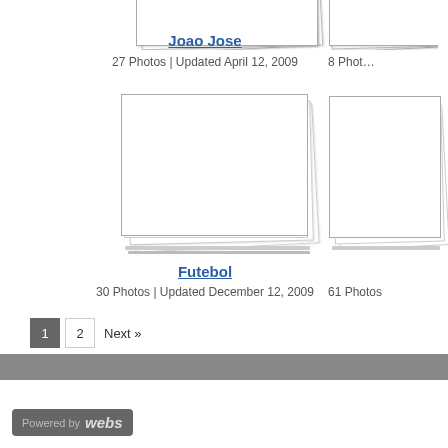[Figure (photo): Album thumbnail stack for Joao Jose]
Joao Jose
27 Photos | Updated April 12, 2009
[Figure (photo): Partially visible album thumbnail stack on right side]
8 Photos (partially visible)
[Figure (photo): Album thumbnail stack for Futebol]
Futebol
30 Photos | Updated December 12, 2009
[Figure (photo): Partially visible album thumbnail stack on right side]
61 Photos (partially visible)
1  2  Next »
Powered by webs